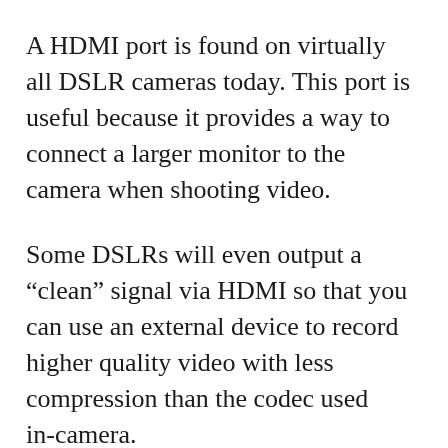A HDMI port is found on virtually all DSLR cameras today. This port is useful because it provides a way to connect a larger monitor to the camera when shooting video.
Some DSLRs will even output a “clean” signal via HDMI so that you can use an external device to record higher quality video with less compression than the codec used in-camera.
Unfortunately, these same cameras only send out 8-bit video, which is definitely limiting.